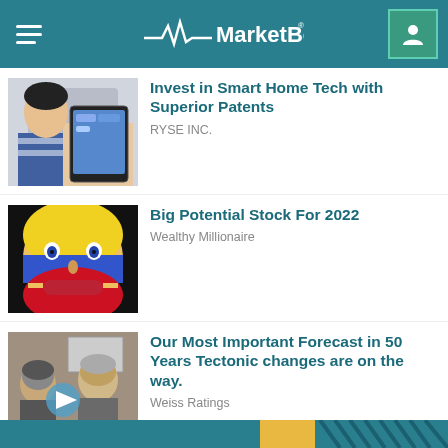MarketBeat
Invest in Smart Home Tech with Superior Patents
RYSE INC.
Big Potential Stock For 2022
Wealthy Millionaire
Our Most Important Forecast in 50 Years Tectonic changes are on the way.
Weiss Ratings